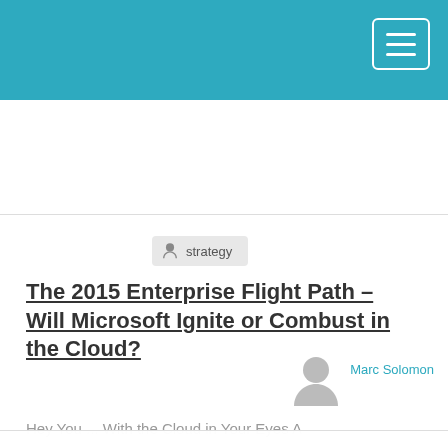[Figure (screenshot): Teal/blue website header navigation bar with hamburger menu button in top right corner]
strategy
The 2015 Enterprise Flight Path – Will Microsoft Ignite or Combust in the Cloud?
Marc Solomon
Hey You ... With the Cloud in Your Eyes A
In order to provide you with the most relevant and personalized experience, we have set our website to store cookies on your computer. By accepting, you agree that you are happy for us to use these cookies. To find out more about the cookies we use, see our Privacy Policy.